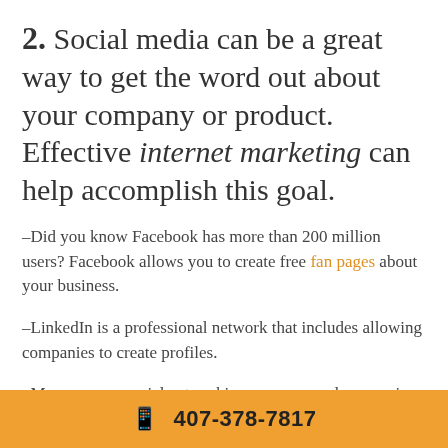2. Social media can be a great way to get the word out about your company or product. Effective internet marketing can help accomplish this goal.
–Did you know Facebook has more than 200 million users? Facebook allows you to create free fan pages about your business.
–LinkedIn is a professional network that includes allowing companies to create profiles.
–Manage your social networking presence and engage in consistent participation with your connections. Nutshell Mail is a service that brings users a summary of their social network updates to their inbox in a single email delivered to them on their schedule.
📱 407-378-7817